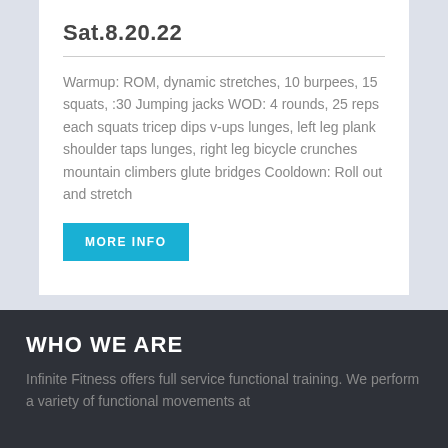Sat.8.20.22
Warmup: ROM, dynamic stretches, 10 burpees, 15 squats, :30 Jumping jacks WOD: 4 rounds, 25 reps each squats tricep dips v-ups lunges, left leg plank shoulder taps lunges, right leg bicycle crunches mountain climbers glute bridges Cooldown: Roll out and stretch
MORE INFO
WHO WE ARE
Infinite Fitness offers full service functional training. We perform a variety of functional movements at